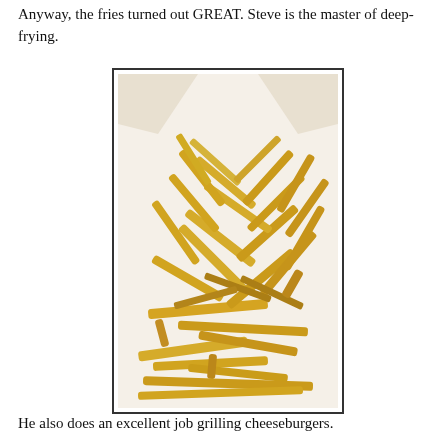Anyway, the fries turned out GREAT. Steve is the master of deep-frying.
[Figure (photo): Photo of a large pile of golden deep-fried french fries served in a white paper-lined basket/container.]
He also does an excellent job grilling cheeseburgers.